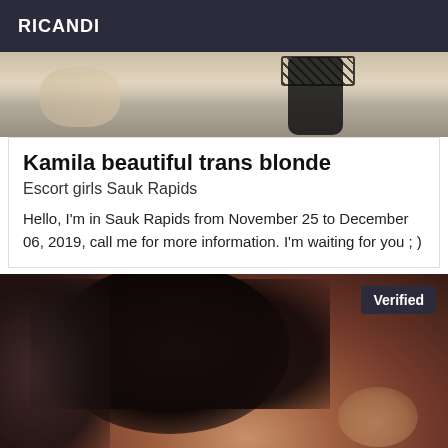RICANDI
[Figure (photo): Partial photo showing legs with black lace stockings against an outdoor background]
Kamila beautiful trans blonde
Escort girls Sauk Rapids
Hello, I'm in Sauk Rapids from November 25 to December 06, 2019, call me for more information. I'm waiting for you ; )
[Figure (photo): Photo of a woman with long dark hair lying down, smiling, wearing black lingerie. A 'Verified' badge is shown in the top right corner.]